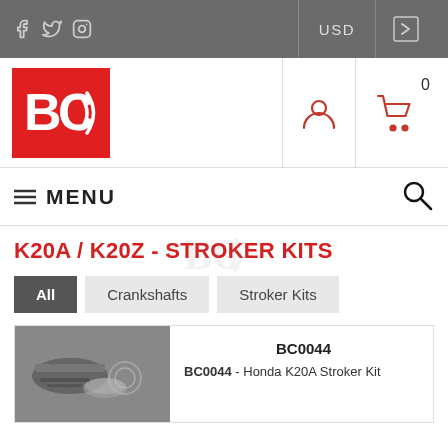f  ȳ  ⊙   USD   →
[Figure (logo): BC Racing logo — red square with white BC letters and signal-wave graphic]
≡ MENU
K20A / K20Z - STROKER KITS
All
Crankshafts
Stroker Kits
[Figure (photo): Black and white photo of engine stroker kit components — crankshaft journals and piston rings]
BC0044
BC0044 - Honda K20A Stroker Kit